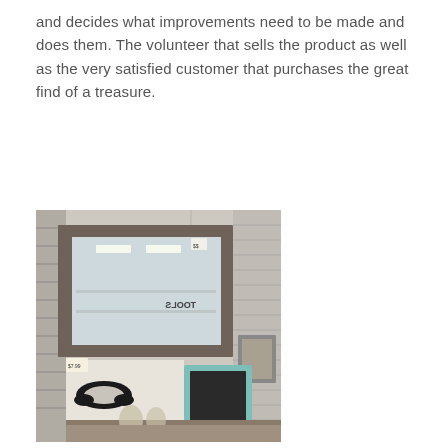and decides what improvements need to be made and does them. The volunteer that sells the product as well as the very satisfied customer that purchases the great find of a treasure.
[Figure (photo): A thrift store interior showing a rustic wooden-framed mirror hanging on a slatted wall display, with smaller items including a decorative piece with a black scroll design and a teal-framed chalkboard below it. A sign reading 'TOOLS' is visible in the mirror's reflection.]